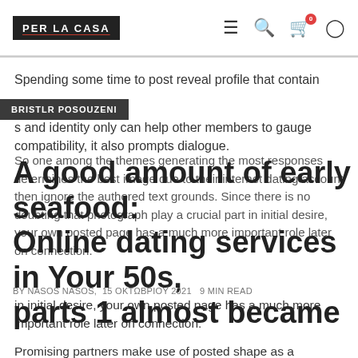PER LA CASA
Spending some time to post reveal profile that contain s and identity only can help other members to gauge compatibility, it also prompts dialogue.
BRISTLR POSOUZENI
A good amount of early seafood: Online dating services in Your 50s, parts 1 almost became
So one among the themes generating the most responses determines the best image due to their internet dating account then ignore the authored text grounds. Since there is no doubting that photograph play a crucial part in initial desire, your own posted page has a much more important role later on connection.
BY NASOS NASOS,  15 OKTΩBPIOY 2021  9 MIN READ
Promising partners make use of posted shape as a